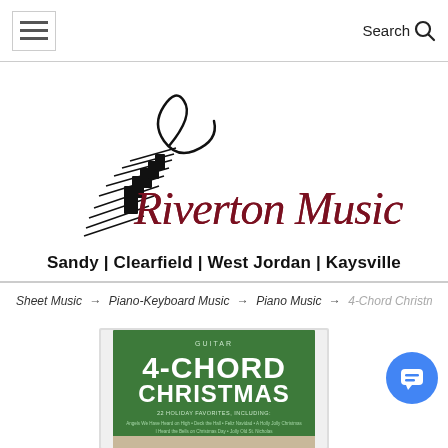Search (icon) | Hamburger menu
[Figure (logo): Riverton Music logo with musical note/feather graphic and text 'Riverton Music' in dark red italic script]
Sandy | Clearfield | West Jordan | Kaysville
Sheet Music → Piano-Keyboard Music → Piano Music → 4-Chord Christmas
[Figure (photo): Cover of '4-Chord Christmas' book showing green cover with white text '4-CHORD CHRISTMAS' and subtitle '22 Holiday Favorites Including' with list of songs]